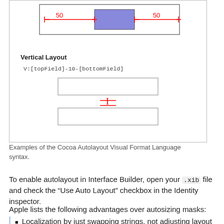[Figure (illustration): Diagram showing Horizontal Layout with a blue filled rectangle flanked by '50' spacers indicated by red arrows, and Vertical Layout showing V:[topField]-10-[bottomField] with two stacked field boxes separated by a red 'I' spacer indicator.]
Examples of the Cocoa Autolayout Visual Format Language syntax.
To enable autolayout in Interface Builder, open your .xib file and check the “Use Auto Layout” checkbox in the Identity inspector.
Apple lists the following advantages over autosizing masks:
Localization by just swapping strings, not adjusting layout in the majority of cases.